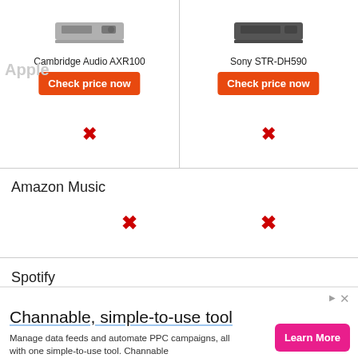[Figure (screenshot): Cambridge Audio AXR100 product image (small grey receiver)]
Cambridge Audio AXR100
Check price now
[Figure (screenshot): Sony STR-DH590 product image (dark grey receiver)]
Sony STR-DH590
Check price now
Amazon Music
Spotify
Other streaming services
Channable, simple-to-use tool
Manage data feeds and automate PPC campaigns, all with one simple-to-use tool. Channable
Learn More